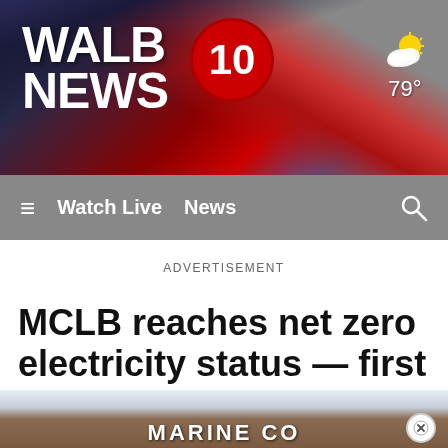[Figure (screenshot): WALB News 10 website header banner with logo and weather widget showing 79 degrees]
≡  Watch Live  News  🔍
ADVERTISEMENT
MCLB reaches net zero electricity status — first U.S. base to do
[Figure (photo): Marine Corps base exterior showing brick entrance sign reading MARINE CORPS]